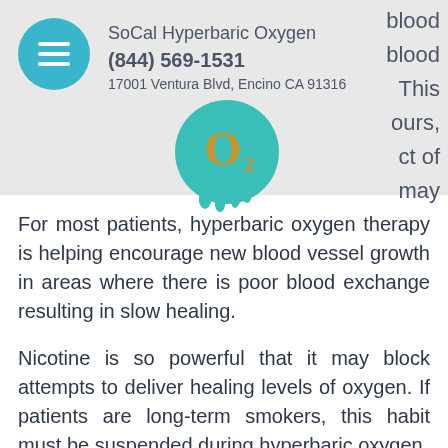SoCal Hyperbaric Oxygen
(844) 569-1531
17001 Ventura Blvd, Encino CA 91316
[Figure (logo): O2 teal circular logo with golden O2 text and dripping paint effect]
For most patients, hyperbaric oxygen therapy is helping encourage new blood vessel growth in areas where there is poor blood exchange resulting in slow healing.
Nicotine is so powerful that it may block attempts to deliver healing levels of oxygen. If patients are long-term smokers, this habit must be suspended during hyperbaric oxygen